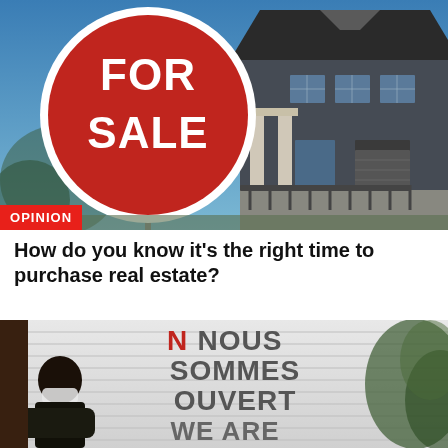[Figure (photo): A red circular 'FOR SALE' sign in front of a house with a blue sky background, with an 'OPINION' label overlaid in the bottom-left corner.]
How do you know it's the right time to purchase real estate?
[Figure (photo): A bilingual sign reading 'NOUS SOMMES OUVERT / WE ARE OPEN' visible through a window, with a person wearing a mask in the foreground.]